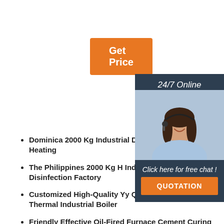[Figure (other): Orange 'Get Price' button]
[Figure (other): Customer service sidebar with '24/7 Online' header, photo of smiling woman with headset, 'Click here for free chat!' text, and orange QUOTATION button]
Dominica 2000 Kg Industrial Diesel Fired B... Heating
The Philippines 2000 Kg H Industrial Steam... Disinfection Factory
Customized High-Quality Yy Q W Series C... Thermal Industrial Boiler
Friendly Effective Oil-Fired Furnace Cement Curing Factory
2 Ton Natural Gas-Fired Steam Boiler Asphalt Industry Panama
2021 Newest Factory Price 10-Ton Capacity Tube